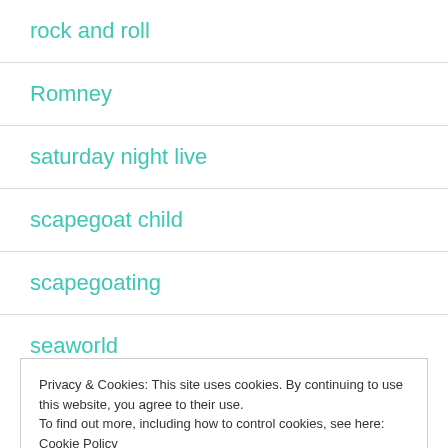rock and roll
Romney
saturday night live
scapegoat child
scapegoating
seaworld
Privacy & Cookies: This site uses cookies. By continuing to use this website, you agree to their use.
To find out more, including how to control cookies, see here: Cookie Policy